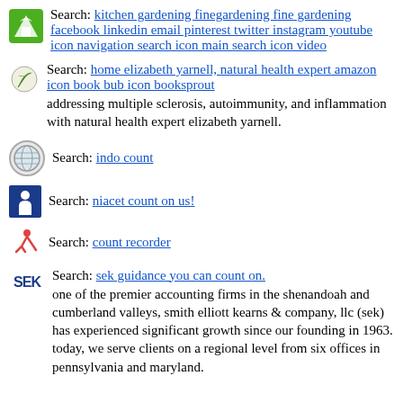Search: kitchen gardening finegardening fine gardening facebook linkedin email pinterest twitter instagram youtube icon navigation search icon main search icon video
Search: home elizabeth yarnell, natural health expert amazon icon book bub icon booksprout
addressing multiple sclerosis, autoimmunity, and inflammation with natural health expert elizabeth yarnell.
Search: indo count
Search: niacet count on us!
Search: count recorder
Search: sek guidance you can count on.
one of the premier accounting firms in the shenandoah and cumberland valleys, smith elliott kearns & company, llc (sek) has experienced significant growth since our founding in 1963. today, we serve clients on a regional level from six offices in pennsylvania and maryland.